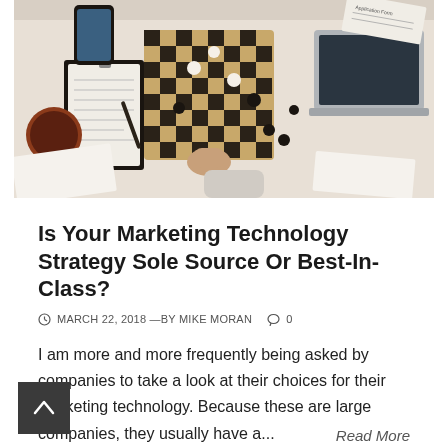[Figure (photo): Overhead view of people at a desk with a chessboard, laptop, smartphone, coffee cup, clipboard with documents, scattered papers and chess pieces]
Is Your Marketing Technology Strategy Sole Source Or Best-In-Class?
© MARCH 22, 2018 —BY MIKE MORAN  ○ 0
I am more and more frequently being asked by companies to take a look at their choices for their marketing technology. Because these are large companies, they usually have a...
Read More